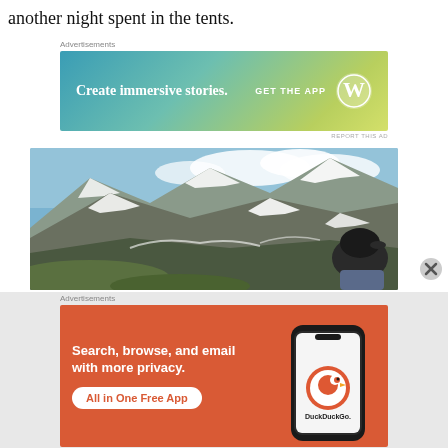another night spent in the tents.
Advertisements
[Figure (infographic): WordPress advertisement banner with gradient background (teal to yellow-green). Text: 'Create immersive stories.' with 'GET THE APP' and WordPress logo on the right.]
[Figure (photo): Panoramic mountain landscape photo showing snow-capped rocky mountains with green valley below. A person wearing a dark cap is visible in the lower right corner.]
Advertisements
[Figure (infographic): DuckDuckGo advertisement banner with orange background. Text: 'Search, browse, and email with more privacy.' with 'All in One Free App' button and smartphone mockup on the right showing DuckDuckGo logo.]